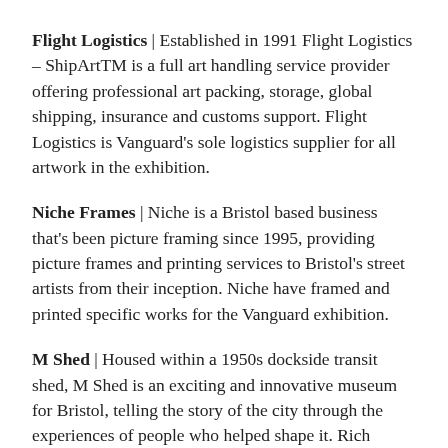Flight Logistics | Established in 1991 Flight Logistics – ShipArtTM is a full art handling service provider offering professional art packing, storage, global shipping, insurance and customs support. Flight Logistics is Vanguard's sole logistics supplier for all artwork in the exhibition.
Niche Frames | Niche is a Bristol based business that's been picture framing since 1995, providing picture frames and printing services to Bristol's street artists from their inception. Niche have framed and printed specific works for the Vanguard exhibition.
M Shed | Housed within a 1950s dockside transit shed, M Shed is an exciting and innovative museum for Bristol, telling the story of the city through the experiences of people who helped shape it. Rich collections of objects, art and archives bring these narratives to life in three galleries: Bristol Places, Bristol People and Bristol Life. Visitors can ride M Shed's largest exhibits – the